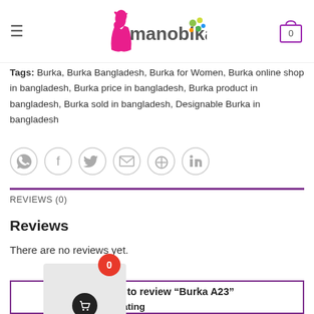[Figure (logo): Manobika logo with pink woman silhouette and colorful leaf motif]
Tags: Burka, Burka Bangladesh, Burka for Women, Burka online shop in bangladesh, Burka price in bangladesh, Burka product in bangladesh, Burka sold in bangladesh, Designable Burka in bangladesh
[Figure (infographic): Social share icons: WhatsApp, Facebook, Twitter, Email, Pinterest, LinkedIn — circular outlined buttons]
REVIEWS (0)
Reviews
There are no reviews yet.
[Figure (infographic): Floating cart widget with red badge showing 0 and basket icon]
Be first to review “Burka A23”
Your rating